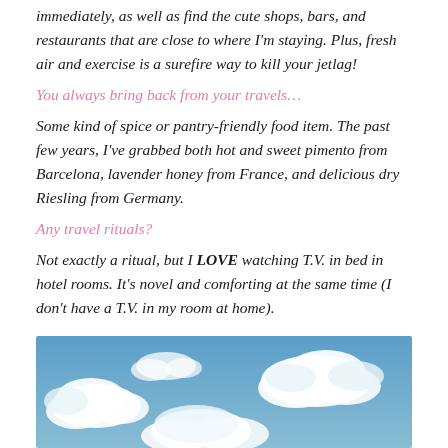immediately, as well as find the cute shops, bars, and restaurants that are close to where I'm staying. Plus, fresh air and exercise is a surefire way to kill your jetlag!
You always bring back from your travels…
Some kind of spice or pantry-friendly food item. The past few years, I've grabbed both hot and sweet pimento from Barcelona, lavender honey from France, and delicious dry Riesling from Germany.
Any travel rituals?
Not exactly a ritual, but I LOVE watching T.V. in bed in hotel rooms. It's novel and comforting at the same time (I don't have a T.V. in my room at home).
[Figure (photo): Blue sky with white clouds, viewed from below]